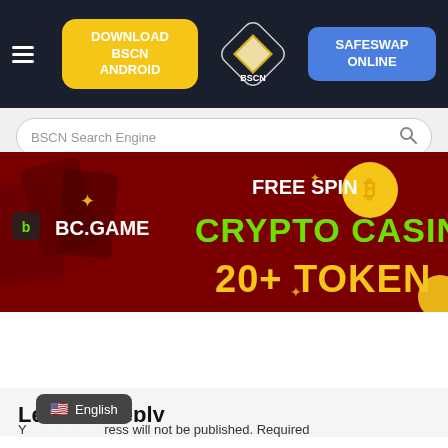[Figure (screenshot): BSCN website navigation bar with hamburger menu, yellow 'DOWNLOAD BSCN ANDROID' button, BSCN diamond logo, and blue 'SAFESWAP ONLINE' button on dark navy background]
[Figure (screenshot): BSCN Search Engine search bar with magnifying glass icon on light gray background]
[Figure (illustration): BC.GAME advertisement banner showing 'FREE SPIN CRYPTO CASINO 20+ TOKEN' text on dark red background with Bitcoin coin graphic and sparkle decorations]
Leave a Reply
Your email address will not be published. Required
[Figure (screenshot): English language selector pill with US flag emoji]